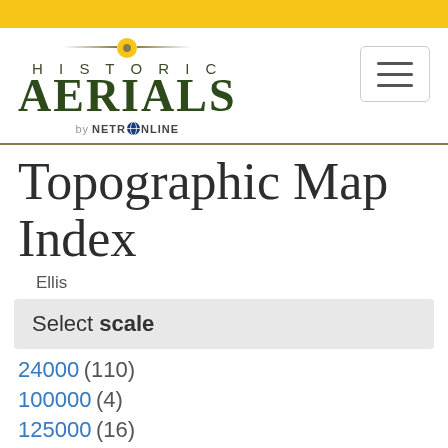[Figure (logo): Historic Aerials by NetrOnline logo with gold circle emblem and decorative lines]
Topographic Map Index
Ellis
Select scale
24000 (110)
100000 (4)
125000 (16)
250000 (7)